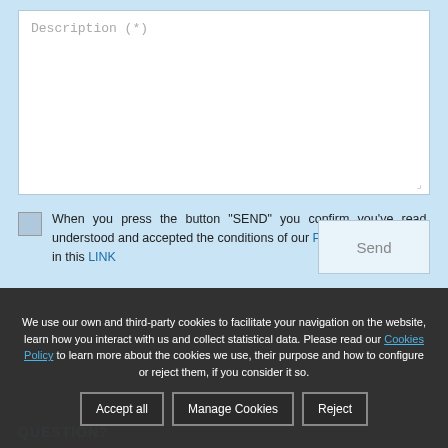Description (*)
When you press the button “SEND” you confirm you’ve read, understood and accepted the conditions of our Privacy Policy shown in this LINK
Send
We use our own and third-party cookies to facilitate your navigation on the website, learn how you interact with us and collect statistical data. Please read our Cookies Policy to learn more about the cookies we use, their purpose and how to configure or reject them, if you consider it so.
Accept all
Manage Cookies
Reject
QUESTION?